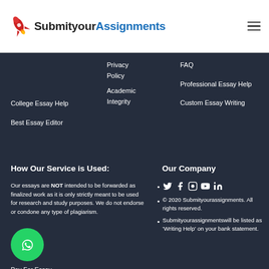[Figure (logo): SubmityourAssignments logo with red rocket icon and text]
Privacy Policy
Academic Integrity
FAQ
Professional Essay Help
Custom Essay Writing
College Essay Help
Best Essay Editor
How Our Service is Used:
Our essays are NOT intended to be forwarded as finalized work as it is only strictly meant to be used for research and study purposes. We do not endorse or condone any type of plagiarism.
[Figure (illustration): WhatsApp green circle button with phone icon]
Pay For Essay
Our Company
Social media icons: Twitter, Facebook, Instagram, YouTube, LinkedIn
© 2020 Submityourassignments. All rights reserved.
Submityourassignmentswill be listed as 'Writing Help' on your bank statement.